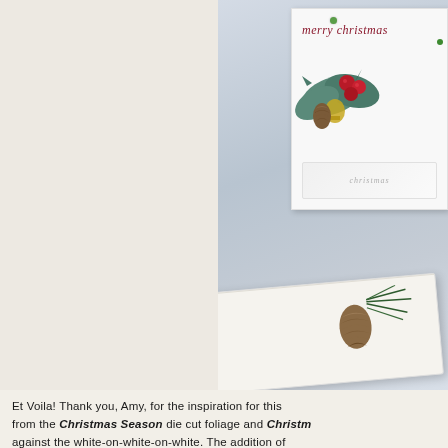[Figure (photo): Photo of a Christmas card with 'merry christmas' in red script, decorated with holly, berries, pine cone and teal leaves, propped against a light blue-grey background. In front is a white envelope with a pine cone and evergreen branch stamp. Bottom portion shows partial text of a crafting blog post.]
Et Voila!  Thank you, Amy, for the inspiration for this from the Christmas Season die cut foliage and Christm... against the white-on-white-on-white.  The addition of is the perfect finishing touch!